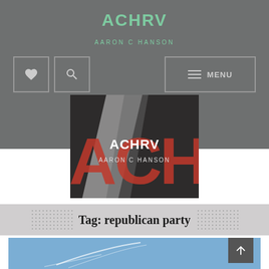ACHRV
AARON C HANSON
[Figure (screenshot): Navigation bar with heart icon, search icon, and MENU button on grey background]
[Figure (logo): ACHRV logo with dark background, large red stylized ACHRV letters, diagonal white/grey stripe, and white ACHRV / AARON C HANSON text overlay]
Tag: republican party
[Figure (photo): Sky photo with blue background and faint white contrail/streak lines, partially visible]